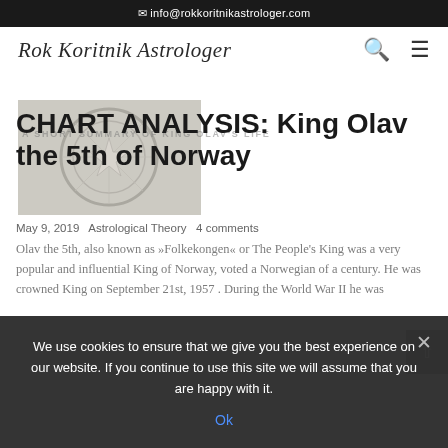✉ info@rokkoritnikastrologer.com
Rok Koritnik Astrologer
[Figure (photo): Partial astrological chart image in greyscale, showing part of a circular zodiac or coin-like symbol]
A SHORT SUMMARY OF KING OLAV'S LIFE
CHART ANALYSIS: King Olav the 5th of Norway
May 9, 2019   Astrological Theory   4 comments
Olav the 5th, also known as »Folkekongen« or The People's King was a very popular and influential King of Norway, voted a Norwegian of a century. He was crowned King on September 21st, 1957 . During the World War II he was
We use cookies to ensure that we give you the best experience on our website. If you continue to use this site we will assume that you are happy with it.
Ok